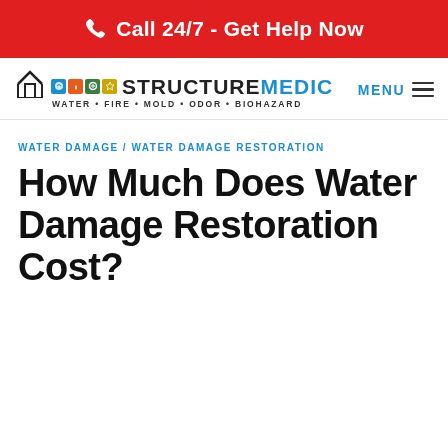Call 24/7 - Get Help Now
[Figure (logo): StructureMedic logo with colored icons and tagline: WATER • FIRE • MOLD • ODOR • BIOHAZARD]
MENU
WATER DAMAGE / WATER DAMAGE RESTORATION
How Much Does Water Damage Restoration Cost?